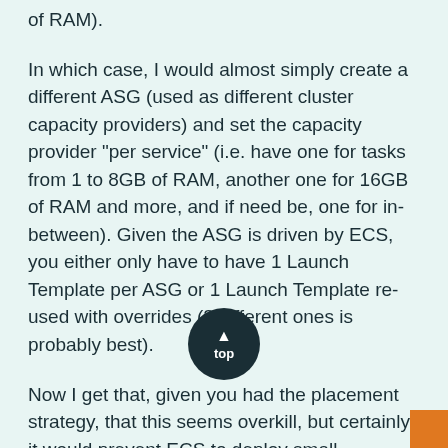of RAM).
In which case, I would almost simply create a different ASG (used as different cluster capacity providers) and set the capacity provider "per service" (i.e. have one for tasks from 1 to 8GB of RAM, another one for 16GB of RAM and more, and if need be, one for in-between). Given the ASG is driven by ECS, you either only have to have 1 Launch Template per ASG or 1 Launch Template re-used with overrides (3 different ones is probably best).
Now I get that, given you had the placement strategy, that this seems overkill, but certainly it would prevent ECS to deploy small instances in a race condition (i.e. instance type for small tasks first) and instead clearly isolate the ASG for the bigger jobs.